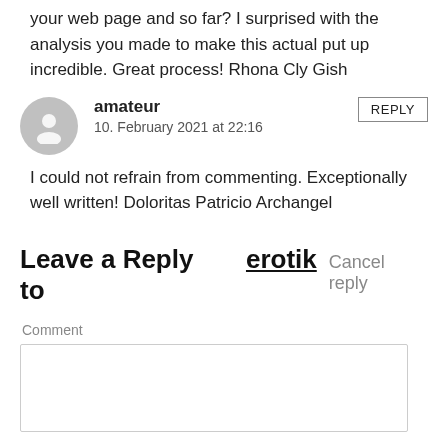your web page and so far? I surprised with the analysis you made to make this actual put up incredible. Great process! Rhona Cly Gish
amateur
10. February 2021 at 22:16
I could not refrain from commenting. Exceptionally well written! Doloritas Patricio Archangel
Leave a Reply to erotik  Cancel reply
Comment